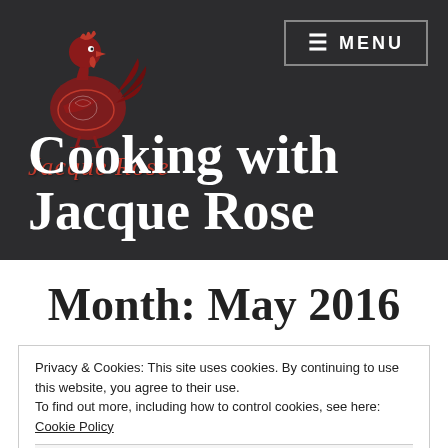[Figure (logo): Red decorative rooster illustration above the Jacque Rose brand name]
Cooking with Jacque Rose
Month: May 2016
Privacy & Cookies: This site uses cookies. By continuing to use this website, you agree to their use.
To find out more, including how to control cookies, see here: Cookie Policy
Close and accept